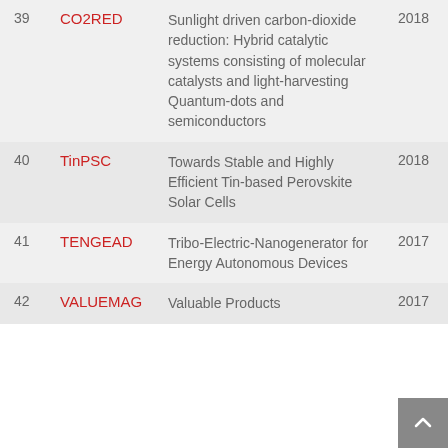| # | Name | Description | Year |
| --- | --- | --- | --- |
| 39 | CO2RED | Sunlight driven carbon-dioxide reduction: Hybrid catalytic systems consisting of molecular catalysts and light-harvesting Quantum-dots and semiconductors | 2018 |
| 40 | TinPSC | Towards Stable and Highly Efficient Tin-based Perovskite Solar Cells | 2018 |
| 41 | TENGEAD | Tribo-Electric-Nanogenerator for Energy Autonomous Devices | 2017 |
| 42 | VALUEMAG | Valuable Products | 2017 |